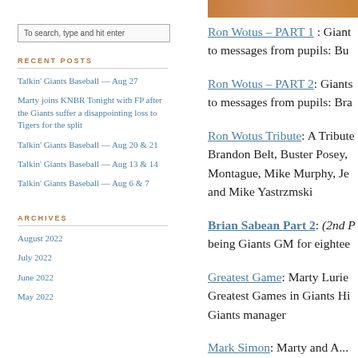To search, type and hit enter
RECENT POSTS
Talkin' Giants Baseball — Aug 27
Marty joins KNBR Tonight with FP after the Giants suffer a disappointing loss to Tigers for the split
Talkin' Giants Baseball — Aug 20 & 21
Talkin' Giants Baseball — Aug 13 & 14
Talkin' Giants Baseball — Aug 6 & 7
ARCHIVES
August 2022
July 2022
June 2022
May 2022
[Figure (photo): Orange/brown colored photo strip at the top right]
Ron Wotus – PART 1 : Giant to messages from pupils: Bu
Ron Wotus – PART 2: Giants to messages from pupils: Bra
Ron Wotus Tribute: A Tribute Brandon Belt, Buster Posey, Montague, Mike Murphy, Je and Mike Yastrzmski
Brian Sabean Part 2: (2nd P being Giants GM for eightee
Greatest Game: Marty Lurie Greatest Games in Giants Hi Giants manager
Mark Simon: Marty and A...